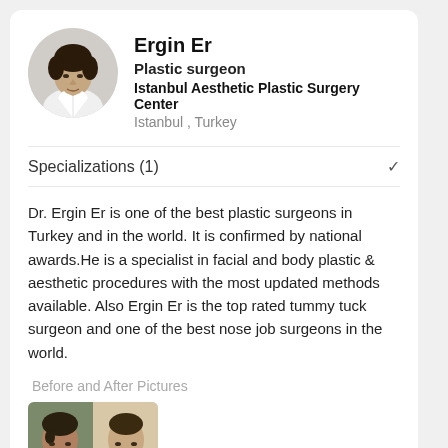[Figure (photo): Circular profile photo of Dr. Ergin Er, a middle-aged man with dark curly hair wearing a white medical coat]
Ergin Er
Plastic surgeon
Istanbul Aesthetic Plastic Surgery Center
Istanbul , Turkey
Specializations (1)
Dr. Ergin Er is one of the best plastic surgeons in Turkey and in the world. It is confirmed by national awards.He is a specialist in facial and body plastic & aesthetic procedures with the most updated methods available. Also Ergin Er is the top rated tummy tuck surgeon and one of the best nose job surgeons in the world.
Before and After Pictures
[Figure (photo): Before and after photo thumbnail showing two male faces side by side]